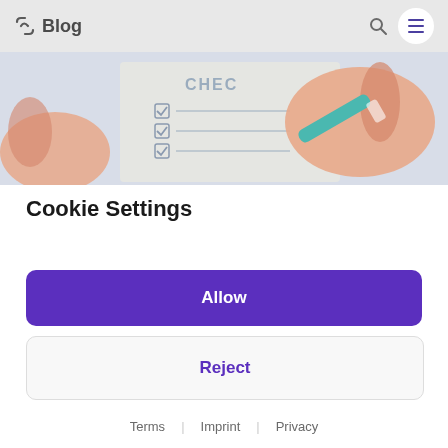Blog
[Figure (illustration): Illustration of hands holding a pen checking boxes on a checklist form with the word CHEC visible at top]
Cookie Settings
Allow
Reject
Terms | Imprint | Privacy